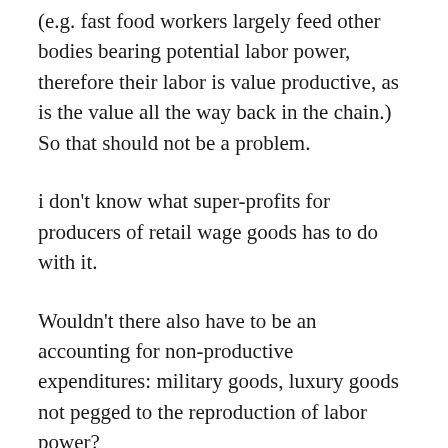(e.g. fast food workers largely feed other bodies bearing potential labor power, therefore their labor is value productive, as is the value all the way back in the chain.) So that should not be a problem.
i don't know what super-profits for producers of retail wage goods has to do with it.
Wouldn't there also have to be an accounting for non-productive expenditures: military goods, luxury goods not pegged to the reproduction of labor power?
Wouldn't there also have to be an accounting...